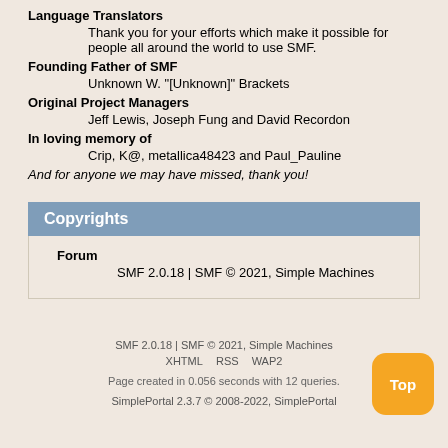Language Translators
Thank you for your efforts which make it possible for people all around the world to use SMF.
Founding Father of SMF
Unknown W. "[Unknown]" Brackets
Original Project Managers
Jeff Lewis, Joseph Fung and David Recordon
In loving memory of
Crip, K@, metallica48423 and Paul_Pauline
And for anyone we may have missed, thank you!
Copyrights
Forum
SMF 2.0.18 | SMF © 2021, Simple Machines
SMF 2.0.18 | SMF © 2021, Simple Machines
XHTML   RSS   WAP2
Page created in 0.056 seconds with 12 queries.
SimplePortal 2.3.7 © 2008-2022, SimplePortal